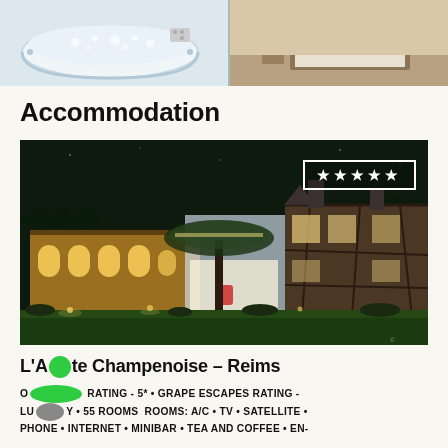[Figure (photo): Top banner showing two hotel room photos: left is a jacuzzi/bathtub, right is a bedroom]
Accommodation
[Figure (photo): Night-time exterior photo of L'Assiette Champenoise luxury hotel in Reims, illuminated building with green lawn]
L'Assiette Champenoise – Reims
OFFICIAL RATING - 5* • GRAPE ESCAPES RATING - LUXURY • 55 ROOMS ROOMS: A/C • TV • SATELLITE • PHONE • INTERNET • MINIBAR • TEA AND COFFEE • EN-